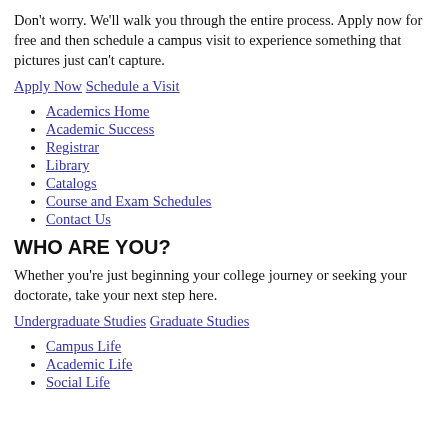Don't worry. We'll walk you through the entire process. Apply now for free and then schedule a campus visit to experience something that pictures just can't capture.
Apply Now Schedule a Visit
Academics Home
Academic Success
Registrar
Library
Catalogs
Course and Exam Schedules
Contact Us
WHO ARE YOU?
Whether you're just beginning your college journey or seeking your doctorate, take your next step here.
Undergraduate Studies Graduate Studies
Campus Life
Academic Life
Social Life